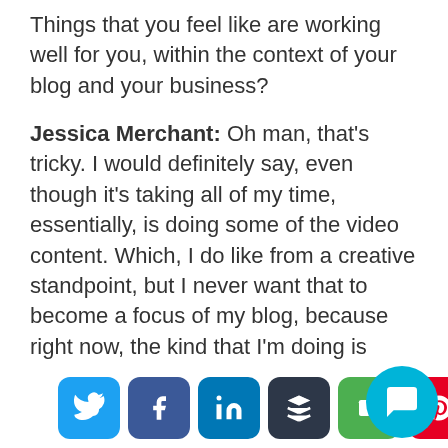Things that you feel like are working well for you, within the context of your blog and your business?
Jessica Merchant: Oh man, that's tricky. I would definitely say, even though it's taking all of my time, essentially, is doing some of the video content. Which, I do like from a creative standpoint, but I never want that to become a focus of my blog, because right now, the kind that I'm doing is rather impersonal and I do write a more personal blog. I will say that that has increased engagement on all social media, like ten-fold. It doesn't so much increase engagement on my actual blog and the posts...